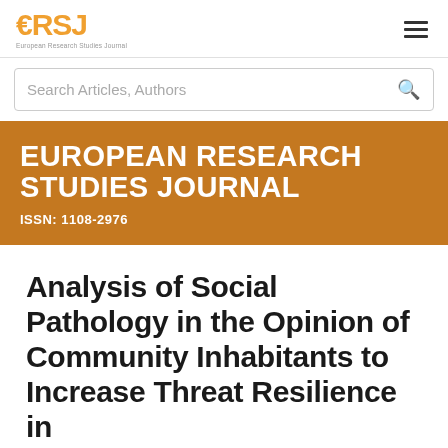[Figure (logo): ERSJ European Research Studies Journal logo with orange euro sign and RSJ letters]
Search Articles, Authors
EUROPEAN RESEARCH STUDIES JOURNAL
ISSN: 1108-2976
Analysis of Social Pathology in the Opinion of Community Inhabitants to Increase Threat Resilience in